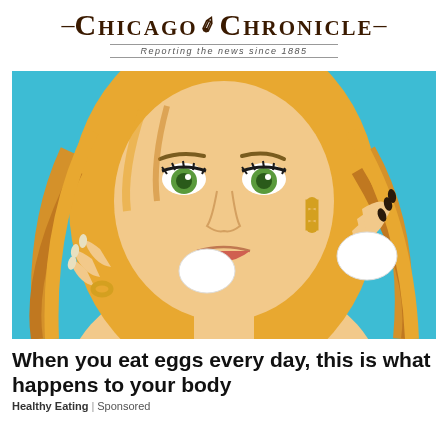Chicago Chronicle — Reporting the news since 1885
[Figure (illustration): Comic-style illustration of a blonde woman with green eyes holding two white eggs, one near her mouth, against a teal/cyan background. She wears gold chain earrings and a gold ring.]
When you eat eggs every day, this is what happens to your body
Healthy Eating | Sponsored